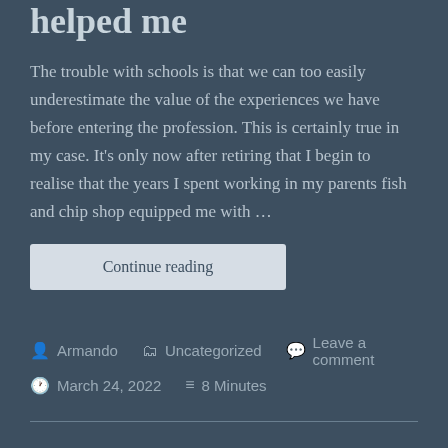helped me
The trouble with schools is that we can too easily underestimate the value of the experiences we have before entering the profession. This is certainly true in my case. It's only now after retiring that I begin to realise that the years I spent working in my parents fish and chip shop equipped me with …
Continue reading
Armando   Uncategorized   Leave a comment   March 24, 2022   8 Minutes